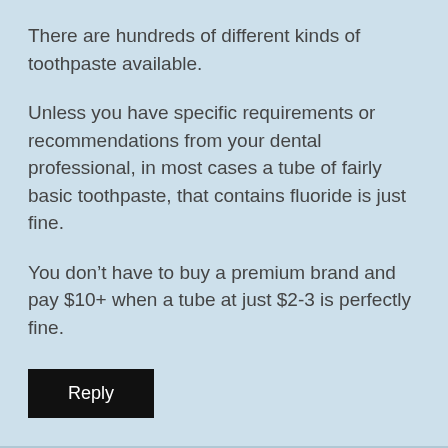There are hundreds of different kinds of toothpaste available.
Unless you have specific requirements or recommendations from your dental professional, in most cases a tube of fairly basic toothpaste, that contains fluoride is just fine.
You don’t have to buy a premium brand and pay $10+ when a tube at just $2-3 is perfectly fine.
Reply